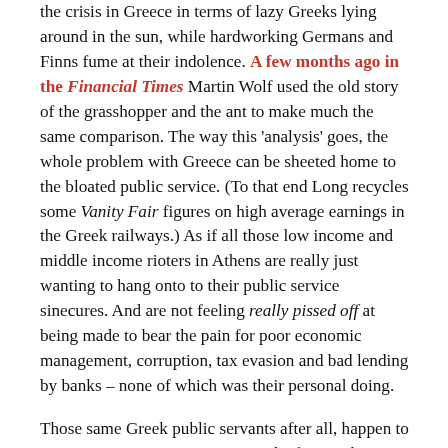the crisis in Greece in terms of lazy Greeks lying around in the sun, while hardworking Germans and Finns fume at their indolence. A few months ago in the Financial Times Martin Wolf used the old story of the grasshopper and the ant to make much the same comparison. The way this 'analysis' goes, the whole problem with Greece can be sheeted home to the bloated public service. (To that end Long recycles some Vanity Fair figures on high average earnings in the Greek railways.) As if all those low income and middle income rioters in Athens are really just wanting to hang onto to their public service sinecures. And are not feeling really pissed off at being made to bear the pain for poor economic management, corruption, tax evasion and bad lending by banks – none of which was their personal doing.
Those same Greek public servants after all, happen to pay income tax – PAYE tax – week after week. Which helps explain the rage on the streets that the austerity package of job cuts and wage cuts and tax increases and privatization of public assets and services will be directed at the same citizens who have been dutifully paying their taxes, and NOT engaged in the